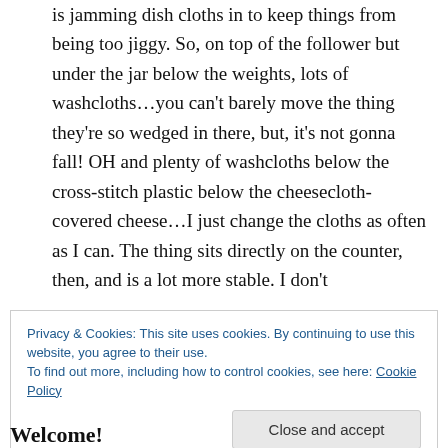Annette, the one great saver I have figured out is jamming dish cloths in to keep things from being too jiggy. So, on top of the follower but under the jar below the weights, lots of washcloths…you can't barely move the thing they're so wedged in there, but, it's not gonna fall! OH and plenty of washcloths below the cross-stitch plastic below the cheesecloth-covered cheese…I just change the cloths as often as I can. The thing sits directly on the counter, then, and is a lot more stable. I don't
Privacy & Cookies: This site uses cookies. By continuing to use this website, you agree to their use.
To find out more, including how to control cookies, see here: Cookie Policy
Close and accept
Welcome!